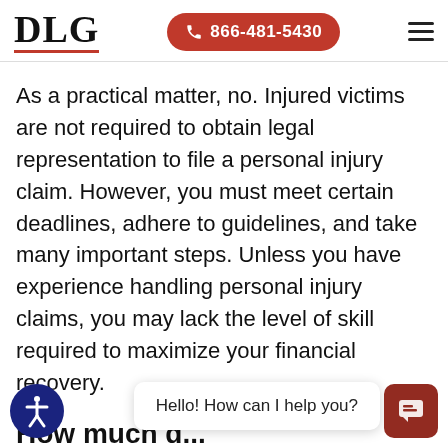DLG | 866-481-5430
As a practical matter, no. Injured victims are not required to obtain legal representation to file a personal injury claim. However, you must meet certain deadlines, adhere to guidelines, and take many important steps. Unless you have experience handling personal injury claims, you may lack the level of skill required to maximize your financial recovery.
How much d...?
You will pay nothing for legal representation in